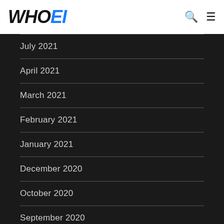[Figure (logo): WHOEI logo with WHO in black italic bold and EI in blue italic bold]
July 2021
April 2021
March 2021
February 2021
January 2021
December 2020
October 2020
September 2020
August 2020